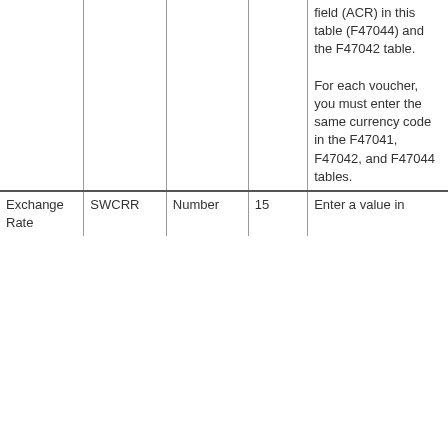|  |  |  |  |  |
| --- | --- | --- | --- | --- |
|  |  |  |  | field (ACR) in this table (F47044) and the F47042 table.
For each voucher, you must enter the same currency code in the F47041, F47042, and F47044 tables. |
| Exchange Rate | SWCRR | Number | 15 | Enter a value in |